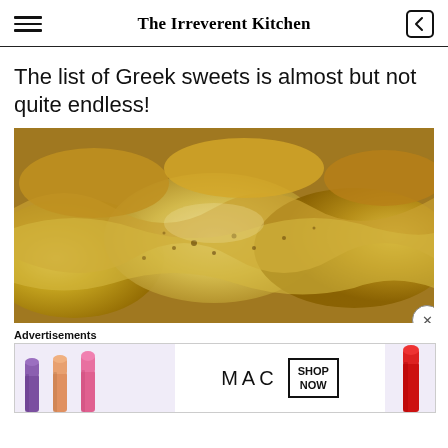The Irreverent Kitchen
The list of Greek sweets is almost but not quite endless!
[Figure (photo): Close-up photo of Greek sweets — golden-brown phyllo pastry desserts dusted with spices, likely bougatsa or similar cream-filled Greek pastry]
Advertisements
[Figure (other): MAC cosmetics advertisement banner featuring lipsticks and 'SHOP NOW' call to action]